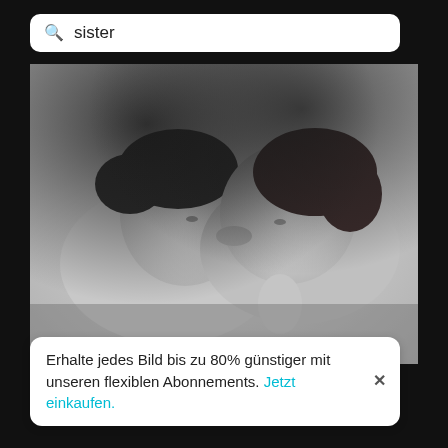sister
[Figure (photo): Black and white photo of two children lying face-to-face, kissing, on a light-colored blanket or bed surface, viewed from above.]
Erhalte jedes Bild bis zu 80% günstiger mit unseren flexiblen Abonnements. Jetzt einkaufen.